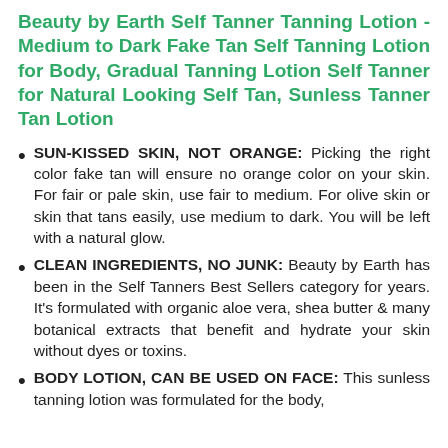Beauty by Earth Self Tanner Tanning Lotion - Medium to Dark Fake Tan Self Tanning Lotion for Body, Gradual Tanning Lotion Self Tanner for Natural Looking Self Tan, Sunless Tanner Tan Lotion
SUN-KISSED SKIN, NOT ORANGE: Picking the right color fake tan will ensure no orange color on your skin. For fair or pale skin, use fair to medium. For olive skin or skin that tans easily, use medium to dark. You will be left with a natural glow.
CLEAN INGREDIENTS, NO JUNK: Beauty by Earth has been in the Self Tanners Best Sellers category for years. It's formulated with organic aloe vera, shea butter & many botanical extracts that benefit and hydrate your skin without dyes or toxins.
BODY LOTION, CAN BE USED ON FACE: This sunless tanning lotion was formulated for the body, however it can also be used for a face self tan.